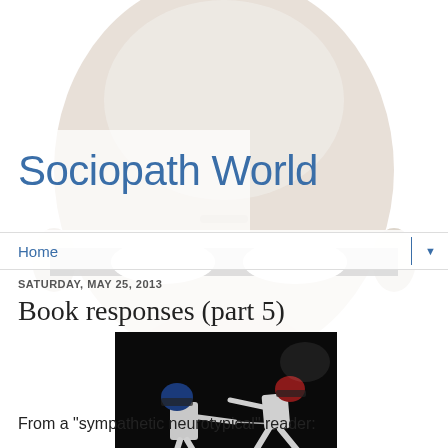[Figure (illustration): Background image of a white mannequin face/mask with blank white eye sockets, seen head-on against a white background]
Sociopath World
Home
SATURDAY, MAY 25, 2013
Book responses (part 5)
[Figure (photo): Two fencers in white uniforms and helmets dueling on a dark background, one wearing a blue helmet and one a red helmet]
From a "sympathetic neurotypical" reader: